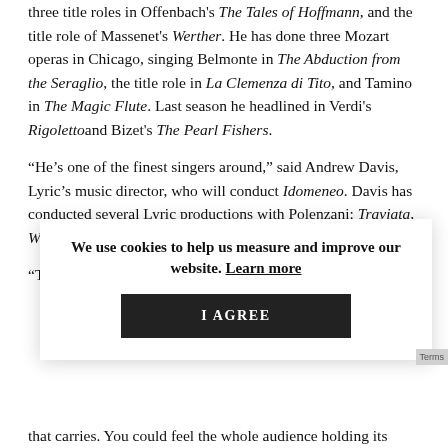three title roles in Offenbach's The Tales of Hoffmann, and the title role of Massenet's Werther. He has done three Mozart operas in Chicago, singing Belmonte in The Abduction from the Seraglio, the title role in La Clemenza di Tito, and Tamino in The Magic Flute. Last season he headlined in Verdi's Rigoletto and Bizet's The Pearl Fishers.
“He’s one of the finest singers around,” said Andrew Davis, Lyric’s music director, who will conduct Idomeneo. Davis has conducted several Lyric productions with Polenzani: Traviata, Werther, Pearl Fishers, Seraglio, and La Clemenza.
“There’s the fact that he was so successful in Rigoletto last season... that carries. You could feel the whole audience holding its
[Figure (screenshot): Cookie consent overlay with message 'We use cookies to help us measure and improve our website. Learn more' and an 'I AGREE' button.]